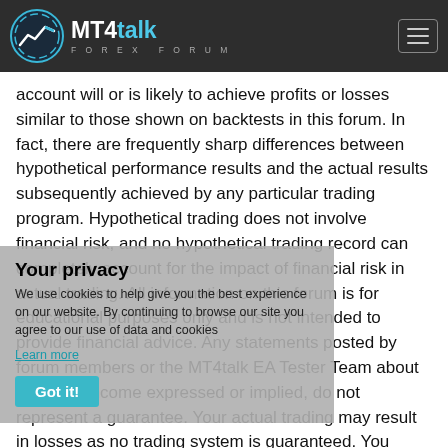[Figure (logo): MT4talk Forex Forum logo with circular chart icon and navigation hamburger menu on dark header bar]
account will or is likely to achieve profits or losses similar to those shown on backtests in this forum. In fact, there are frequently sharp differences between hypothetical performance results and the actual results subsequently achieved by any particular trading program. Hypothetical trading does not involve financial risk, and no hypothetical trading record can completely account for the impact of financial risk in actual trading. All information on this forum is for educational purposes only and is not intended to provide financial advice. Any statements posted by forum members or the MT4talk EA Tester Team about profits or income expressed or implied, do not represent a guarantee. Your actual trading may result in losses as no trading system is guaranteed. You accept full responsibilities for your actions, trades, profit or loss, and agree to hold the MT4talk team and forum members of this information harmless in any and all ways.
Your privacy
We use cookies to help give you the best experience on our website. By continuing to browse our site you agree to our use of data and cookies
Learn more
Got it!